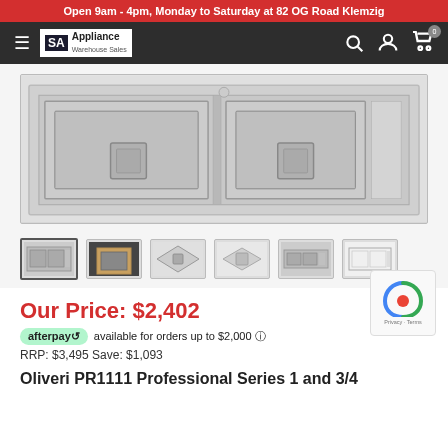Open 9am - 4pm, Monday to Saturday at 82 OG Road Klemzig
[Figure (screenshot): SA Appliance Warehouse Sales navigation bar with hamburger menu, logo, search, account, and cart icons]
[Figure (photo): Stainless steel double bowl kitchen sink with drainer board, shown from above]
[Figure (photo): Row of 6 product thumbnail images showing different views of the kitchen sink]
Our Price: $2,402
afterpay available for orders up to $2,000 ℹ
RRP: $3,495 Save: $1,093
Oliveri PR1111 Professional Series 1 and 3/4...